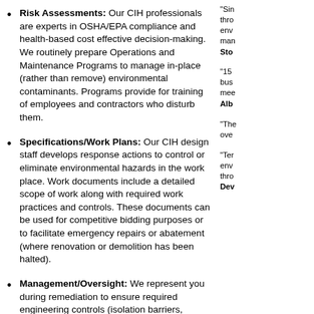Risk Assessments: Our CIH professionals are experts in OSHA/EPA compliance and health-based cost effective decision-making. We routinely prepare Operations and Maintenance Programs to manage in-place (rather than remove) environmental contaminants. Programs provide for training of employees and contractors who disturb them.
Specifications/Work Plans: Our CIH design staff develops response actions to control or eliminate environmental hazards in the work place. Work documents include a detailed scope of work along with required work practices and controls. These documents can be used for competitive bidding purposes or to facilitate emergency repairs or abatement (where renovation or demolition has been halted).
Management/Oversight: We represent you during remediation to ensure required engineering controls (isolation barriers, negative pressure) and work practices are implemented and maintained. Our inspections, sampling protocols and comprehensive documentation will provide the essential support information to limit your exposure to potential liabilities.
"Sin through env man Sto
"15 bus mee Alb
"The over
"Ter env thr Dev